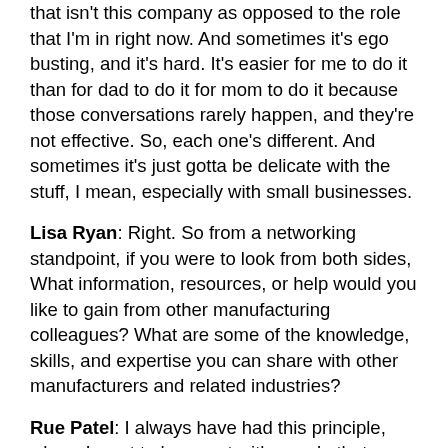that isn't this company as opposed to the role that I'm in right now. And sometimes it's ego busting, and it's hard. It's easier for me to do it than for dad to do it for mom to do it because those conversations rarely happen, and they're not effective. So, each one's different. And sometimes it's just gotta be delicate with the stuff, I mean, especially with small businesses.
Lisa Ryan: Right. So from a networking standpoint, if you were to look from both sides, What information, resources, or help would you like to gain from other manufacturing colleagues? What are some of the knowledge, skills, and expertise you can share with other manufacturers and related industries?
Rue Patel: I always have had this principle, where I want to hang out with people that are better than me. And I don't want anybody in my group that's not as good as me. I don't want to sound egotistical, but